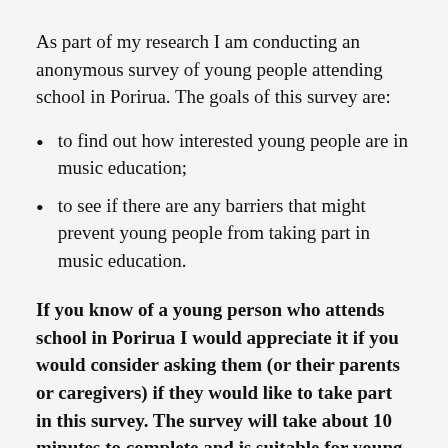As part of my research I am conducting an anonymous survey of young people attending school in Porirua. The goals of this survey are:
to find out how interested young people are in music education;
to see if there are any barriers that might prevent young people from taking part in music education.
If you know of a young person who attends school in Porirua I would appreciate it if you would consider asking them (or their parents or caregivers) if they would like to take part in this survey. The survey will take about 10 minutes to complete and is suitable for young people aged 10 and over. The link to the